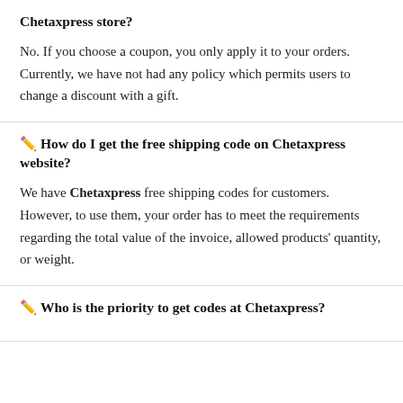No. If you choose a coupon, you only apply it to your orders. Currently, we have not had any policy which permits users to change a discount with a gift.
✏️ How do I get the free shipping code on Chetaxpress website?
We have Chetaxpress free shipping codes for customers. However, to use them, your order has to meet the requirements regarding the total value of the invoice, allowed products' quantity, or weight.
✏️ Who is the priority to get codes at Chetaxpress?